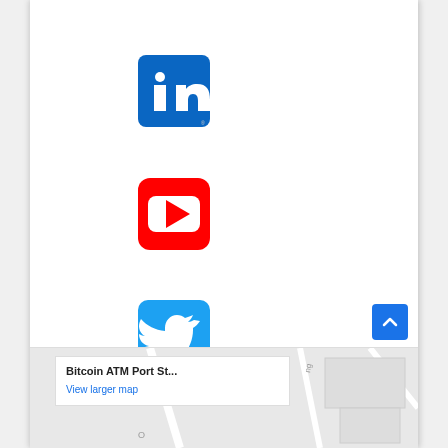[Figure (logo): LinkedIn logo - blue rounded square with white 'in' text]
[Figure (logo): YouTube logo - red rounded square with white play button]
[Figure (logo): Twitter logo - light blue rounded square with white bird icon]
[Figure (screenshot): Map screenshot showing Bitcoin ATM Port St... location with 'View larger map' link and street map background]
[Figure (other): Blue scroll-to-top button with upward chevron arrow]